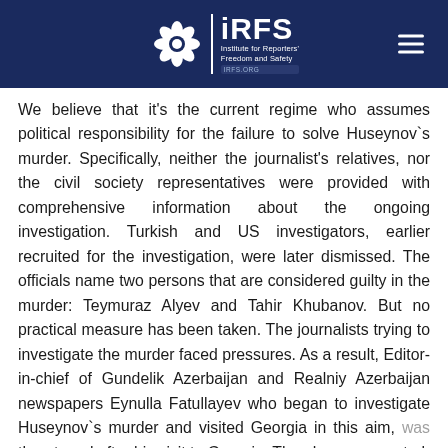[Figure (logo): IRFS - Institute for Reporters' Freedom and Safety logo with flower emblem on dark navy blue header bar]
We believe that it's the current regime who assumes political responsibility for the failure to solve Huseynov`s murder. Specifically, neither the journalist's relatives, nor the civil society representatives were provided with comprehensive information about the ongoing investigation. Turkish and US investigators, earlier recruited for the investigation, were later dismissed. The officials name two persons that are considered guilty in the murder: Teymuraz Alyev and Tahir Khubanov. But no practical measure has been taken. The journalists trying to investigate the murder faced pressures. As a result, Editor-in-chief of Gundelik Azerbaijan and Realniy Azerbaijan newspapers Eynulla Fatullayev who began to investigate Huseynov`s murder and visited Georgia in this aim, was threatened after his visit to Georgia. Then he was arrested